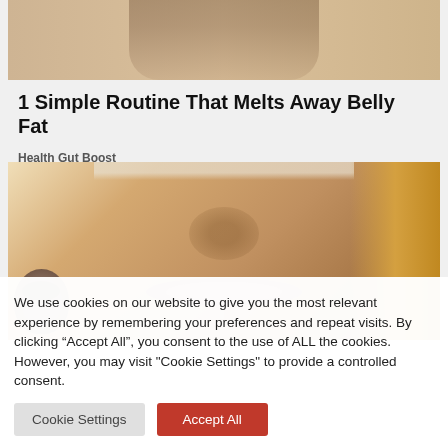[Figure (photo): Top portion of a person's head/food item on a wooden surface, partially cropped]
1 Simple Routine That Melts Away Belly Fat
Health Gut Boost
[Figure (photo): Close-up face photo of a blonde woman with closed eyes and prominent lips, with a smaller illustrated male face in the bottom left corner]
We use cookies on our website to give you the most relevant experience by remembering your preferences and repeat visits. By clicking “Accept All”, you consent to the use of ALL the cookies. However, you may visit “Cookie Settings” to provide a controlled consent.
Cookie Settings   Accept All